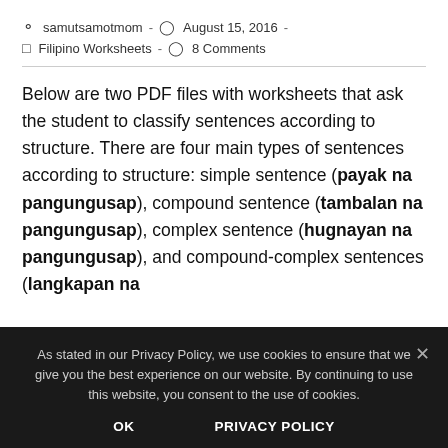samutsamotmom  -  August 15, 2016  -  Filipino Worksheets  -  8 Comments
Below are two PDF files with worksheets that ask the student to classify sentences according to structure. There are four main types of sentences according to structure: simple sentence (payak na pangungusap), compound sentence (tambalan na pangungusap), complex sentence (hugnayan na pangungusap), and compound-complex sentences (langkapan na pangungusap).
As stated in our Privacy Policy, we use cookies to ensure that we give you the best experience on our website. By continuing to use this website, you consent to the use of cookies.
OK    PRIVACY POLICY